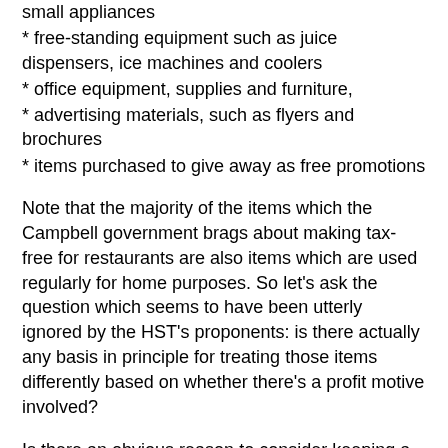small appliances
* free-standing equipment such as juice dispensers, ice machines and coolers
* office equipment, supplies and furniture,
* advertising materials, such as flyers and brochures
* items purchased to give away as free promotions
Note that the majority of the items which the Campbell government brags about making tax-free for restaurants are also items which are used regularly for home purposes. So let's ask the question which seems to have been utterly ignored by the HST's proponents: is there actually any basis in principle for treating those items differently based on whether there's a profit motive involved?
Is there an obvious reason to consider keeping a home clean and well-maintained to be "consumption" to be accounted for as a negative externality when it's merely done for the benefit of family, friends and unincorporated groups, but a "business input" if some clients might also stop by? And if so, what does that say about the value we place on providing for...